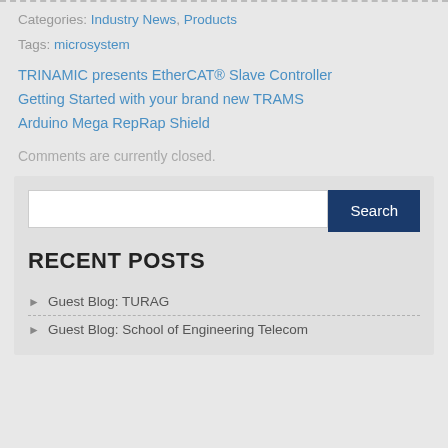Categories: Industry News, Products
Tags: microsystem
TRINAMIC presents EtherCAT® Slave Controller
Getting Started with your brand new TRAMS
Arduino Mega RepRap Shield
Comments are currently closed.
Search
RECENT POSTS
Guest Blog: TURAG
Guest Blog: School of Engineering Telecom